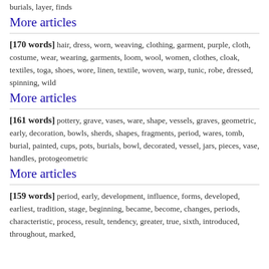burials, layer, finds
More articles
[170 words] hair, dress, worn, weaving, clothing, garment, purple, cloth, costume, wear, wearing, garments, loom, wool, women, clothes, cloak, textiles, toga, shoes, wore, linen, textile, woven, warp, tunic, robe, dressed, spinning, wild
More articles
[161 words] pottery, grave, vases, ware, shape, vessels, graves, geometric, early, decoration, bowls, sherds, shapes, fragments, period, wares, tomb, burial, painted, cups, pots, burials, bowl, decorated, vessel, jars, pieces, vase, handles, protogeometric
More articles
[159 words] period, early, development, influence, forms, developed, earliest, tradition, stage, beginning, became, become, changes, periods, characteristic, process, result, tendency, greater, true, sixth, introduced, throughout, marked,